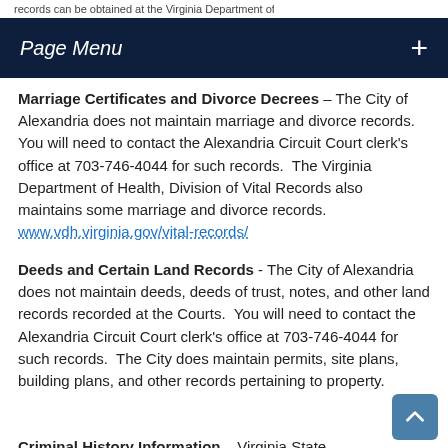records can be obtained at the Virginia Department of
Page Menu +
Marriage Certificates and Divorce Decrees – The City of Alexandria does not maintain marriage and divorce records.  You will need to contact the Alexandria Circuit Court clerk's office at 703-746-4044 for such records.  The Virginia Department of Health, Division of Vital Records also maintains some marriage and divorce records. www.vdh.virginia.gov/vital-records/
Deeds and Certain Land Records - The City of Alexandria does not maintain deeds, deeds of trust, notes, and other land records recorded at the Courts.  You will need to contact the Alexandria Circuit Court clerk's office at 703-746-4044 for such records.  The City does maintain permits, site plans, building plans, and other records pertaining to property.
Criminal History Information – Virginia State Poli…